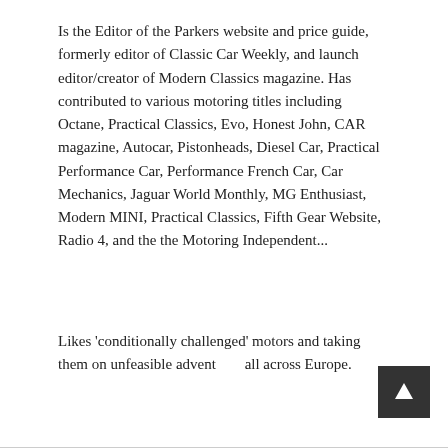Is the Editor of the Parkers website and price guide, formerly editor of Classic Car Weekly, and launch editor/creator of Modern Classics magazine. Has contributed to various motoring titles including Octane, Practical Classics, Evo, Honest John, CAR magazine, Autocar, Pistonheads, Diesel Car, Practical Performance Car, Performance French Car, Car Mechanics, Jaguar World Monthly, MG Enthusiast, Modern MINI, Practical Classics, Fifth Gear Website, Radio 4, and the the Motoring Independent...
Likes 'conditionally challenged' motors and taking them on unfeasible adventures all across Europe.